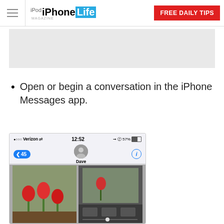iPhone Life Magazine — FREE DAILY TIPS
[Figure (other): Gray advertisement placeholder banner]
Open or begin a conversation in the iPhone Messages app.
[Figure (screenshot): iPhone screenshot showing a Messages conversation with Dave, with contact avatar, back button showing 45, and photo sharing interface with tulip photos visible]